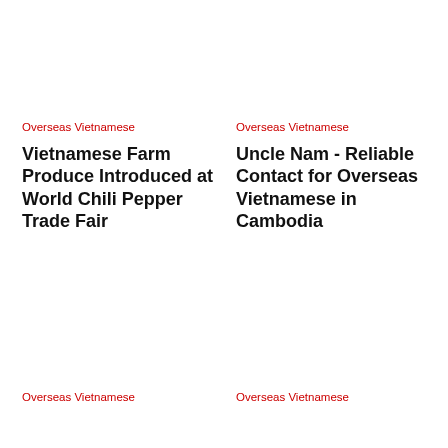Overseas Vietnamese
Vietnamese Farm Produce Introduced at World Chili Pepper Trade Fair
Overseas Vietnamese
Uncle Nam - Reliable Contact for Overseas Vietnamese in Cambodia
Overseas Vietnamese
Overseas Vietnamese